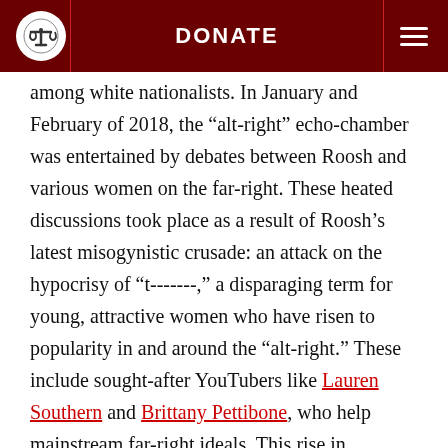DONATE
among white nationalists. In January and February of 2018, the “alt-right” echo-chamber was entertained by debates between Roosh and various women on the far-right. These heated discussions took place as a result of Roosh’s latest misogynistic crusade: an attack on the hypocrisy of “t-------,” a disparaging term for young, attractive women who have risen to popularity in and around the “alt-right.” These include sought-after YouTubers like Lauren Southern and Brittany Pettibone, who help mainstream far-right ideals. This rise in otherwise anti-feminist female voices has led to